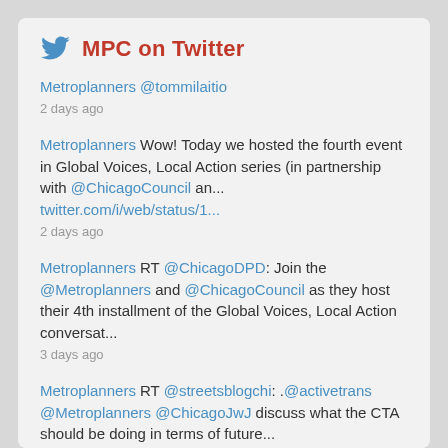MPC on Twitter
Metroplanners @tommilaitio
2 days ago
Metroplanners Wow! Today we hosted the fourth event in Global Voices, Local Action series (in partnership with @ChicagoCouncil an... twitter.com/i/web/status/1...
2 days ago
Metroplanners RT @ChicagoDPD: Join the @Metroplanners and @ChicagoCouncil as they host their 4th installment of the Global Voices, Local Action conversat...
3 days ago
Metroplanners RT @streetsblogchi: .@activetrans @Metroplanners @ChicagoJwJ discuss what the CTA should be doing in terms of future...